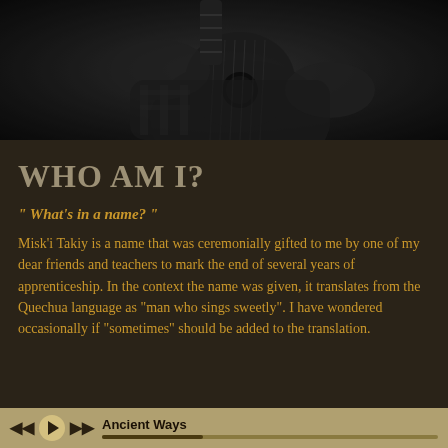[Figure (photo): Black and white photo of a person playing an acoustic guitar, showing hands and body holding the instrument]
WHO AM I?
" What's in a name? "
Misk'i Takiy is a name that was ceremonially gifted to me by one of my dear friends and teachers to mark the end of several years of apprenticeship. In the context the name was given, it translates from the Quechua language as "man who sings sweetly". I have wondered occasionally if "sometimes" should be added to the translation.
Ancient Ways